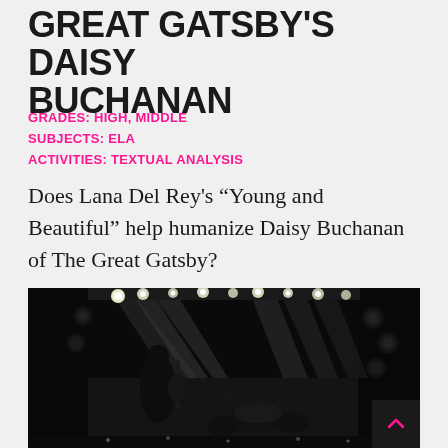GREAT GATSBY'S DAISY BUCHANAN
GRADES: HIGH, MIDDLE
SUBJECTS: ELA
ACTIVITIES: TEXTUAL ANALYSIS
Does Lana Del Rey's “Young and Beautiful” help humanize Daisy Buchanan of The Great Gatsby?
[Figure (photo): Black and white concert photo showing a performer on stage with dramatic stage lighting, spotlights visible overhead, crowd in background]